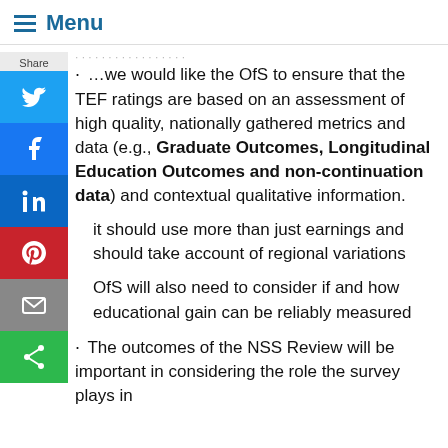Menu
…we would like the OfS to ensure that the TEF ratings are based on an assessment of high quality, nationally gathered metrics and data (e.g., Graduate Outcomes, Longitudinal Education Outcomes and non-continuation data) and contextual qualitative information.
it should use more than just earnings and should take account of regional variations
OfS will also need to consider if and how educational gain can be reliably measured
The outcomes of the NSS Review will be important in considering the role the survey plays in